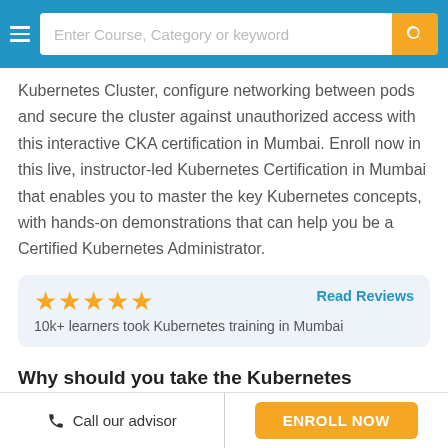Enter Course, Category or keyword
Kubernetes Cluster, configure networking between pods and secure the cluster against unauthorized access with this interactive CKA certification in Mumbai. Enroll now in this live, instructor-led Kubernetes Certification in Mumbai that enables you to master the key Kubernetes concepts, with hands-on demonstrations that can help you be a Certified Kubernetes Administrator.
10k+ learners took Kubernetes training in Mumbai | Read Reviews
Why should you take the Kubernetes Certification Training in Mumbai?
Call our advisor | ENROLL NOW